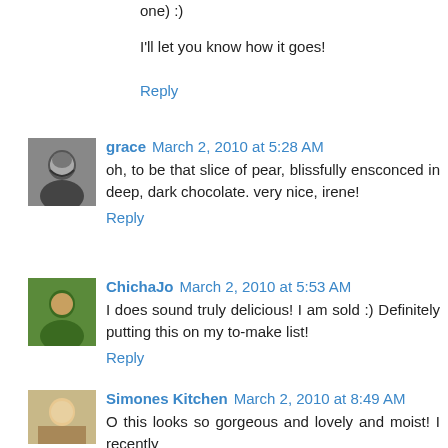one) :)
I'll let you know how it goes!
Reply
grace March 2, 2010 at 5:28 AM
oh, to be that slice of pear, blissfully ensconced in deep, dark chocolate. very nice, irene!
Reply
ChichaJo March 2, 2010 at 5:53 AM
I does sound truly delicious! I am sold :) Definitely putting this on my to-make list!
Reply
Simones Kitchen March 2, 2010 at 8:49 AM
O this looks so gorgeous and lovely and moist! I recently